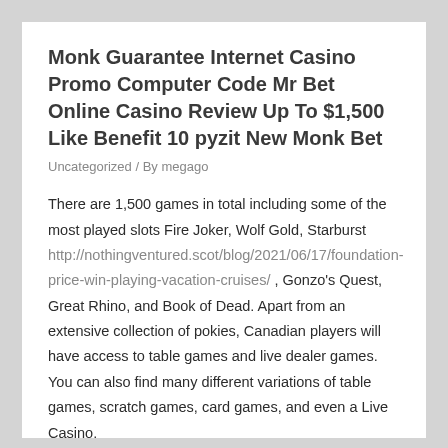Monk Guarantee Internet Casino Promo Computer Code Mr Bet Online Casino Review Up To $1,500 Like Benefit 10 pyzit New Monk Bet
Uncategorized / By megago
There are 1,500 games in total including some of the most played slots Fire Joker, Wolf Gold, Starburst http://nothingventured.scot/blog/2021/06/17/foundation-price-win-playing-vacation-cruises/ , Gonzo's Quest, Great Rhino, and Book of Dead. Apart from an extensive collection of pokies, Canadian players will have access to table games and live dealer games. You can also find many different variations of table games, scratch games, card games, and even a Live Casino.